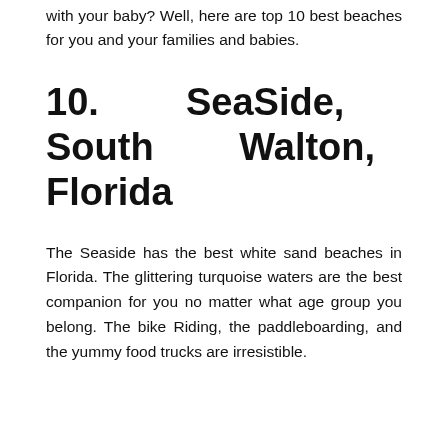with your baby? Well, here are top 10 best beaches for you and your families and babies.
10.  SeaSide,  South  Walton, Florida
The Seaside has the best white sand beaches in Florida. The glittering turquoise waters are the best companion for you no matter what age group you belong. The bike Riding, the paddleboarding, and the yummy food trucks are irresistible.